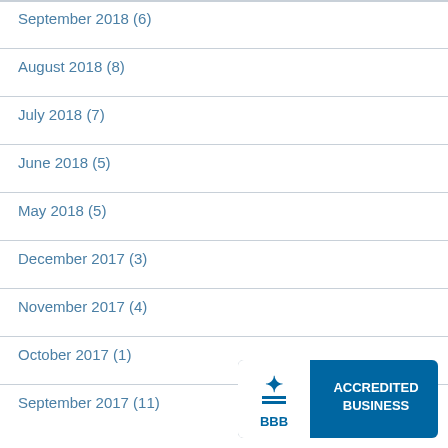September 2018 (6)
August 2018 (8)
July 2018 (7)
June 2018 (5)
May 2018 (5)
December 2017 (3)
November 2017 (4)
October 2017 (1)
September 2017 (11)
[Figure (logo): BBB Accredited Business badge with blue background and white text]